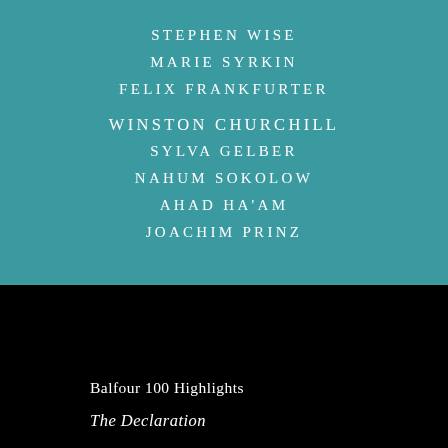STEPHEN WISE
MARIE SYRKIN
FELIX FRANKFURTER
WINSTON CHURCHILL
SYLVA GELBER
NAHUM SOKOLOW
AHAD HA'AM
JOACHIM PRINZ
Balfour 100 Highlights
The Declaration